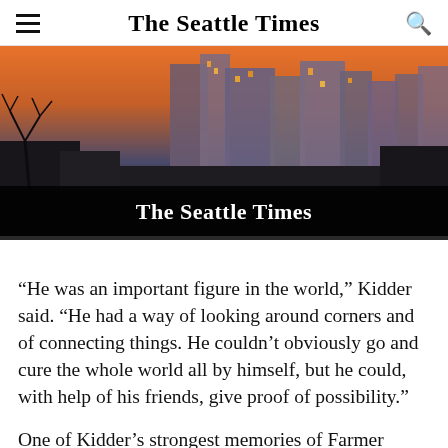The Seattle Times
[Figure (photo): Seattle skyline at dusk/sunset with buildings and bare trees in the foreground, with a black banner overlay at the bottom reading 'The Seattle Times' in gothic font.]
“He was an important figure in the world,” Kidder said. “He had a way of looking around corners and of connecting things. He couldn’t obviously go and cure the whole world all by himself, but he could, with help of his friends, give proof of possibility.”
One of Kidder’s strongest memories of Farmer occurred in Peru, where the doctor was treating